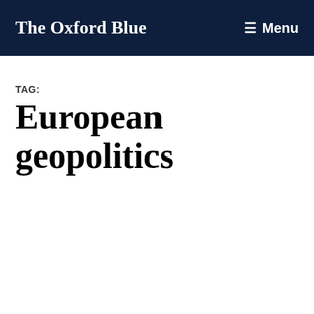The Oxford Blue  ≡ Menu
TAG:
European geopolitics